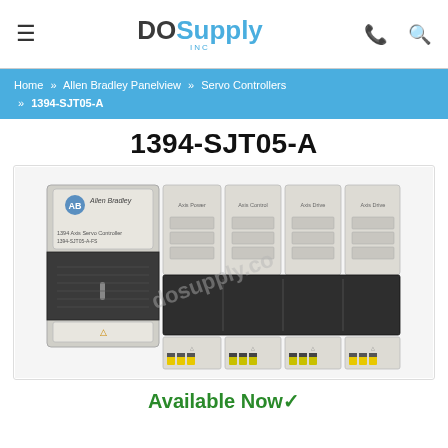DO Supply INC
Home » Allen Bradley Panelview » Servo Controllers » 1394-SJT05-A
1394-SJT05-A
[Figure (photo): Photo of Allen Bradley 1394 Axis Servo Controller module 1394-SJT05-A, showing a multi-axis servo drive unit with gray housing, dark cover panel, and yellow terminal connectors at the bottom.]
Available Now✓